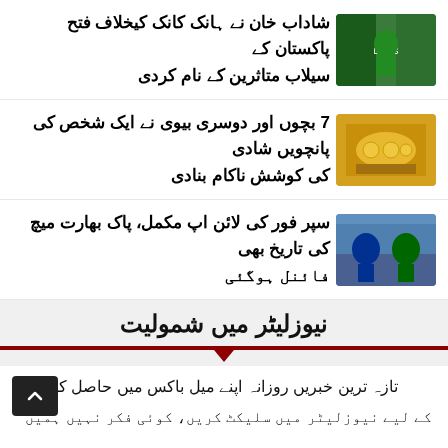شاداب خان نے ہانک کانک کیخلاف فتح پاکستان کے سیلاب متاثرین کے نام کردی
[Figure (photo): Cricket player in green Pakistani cricket kit]
7 بچوں اور دوسری بیوی نے ایک شخص کی پانچویں شادی کی کوشش ناکام بنادی
[Figure (photo): Gold bangles and jewelry on woman's hands]
سپر فور کی لائن اپ مکمل، پاک بھارت میچ کی تاریخ بھی فائنل ہوگئی
[Figure (photo): India and Pakistan cricket captains in stadium]
نیوزلیٹر میں شمولیت
تازہ ترین خبریں روزانہ اپنے میل باکس میں حاصل کرنے
کے لیے نیوزلیٹر میں سلیکٹ کریں، کوئی فکر نہیں ہمیں